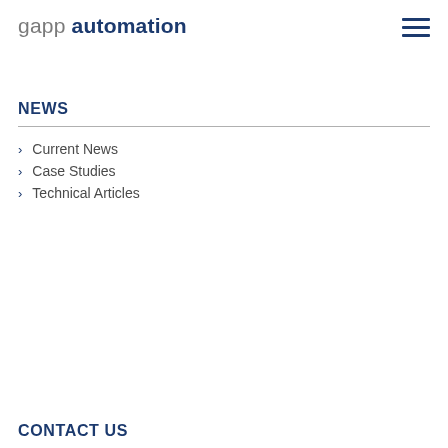gapp automation
NEWS
Current News
Case Studies
Technical Articles
CONTACT US